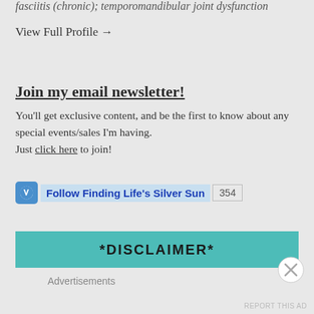fasciitis (chronic); temporomandibular joint dysfunction
View Full Profile →
Join my email newsletter!
You'll get exclusive content, and be the first to know about any special events/sales I'm having. Just click here to join!
Follow Finding Life's Silver Sun 354
*DISCLAIMER*
Advertisements
REPORT THIS AD